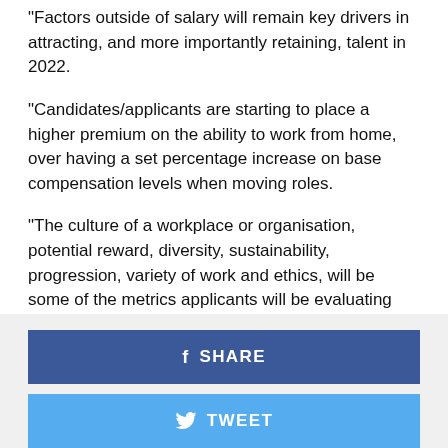“Factors outside of salary will remain key drivers in attracting, and more importantly retaining, talent in 2022.
“Candidates/applicants are starting to place a higher premium on the ability to work from home, over having a set percentage increase on base compensation levels when moving roles.
“The culture of a workplace or organisation, potential reward, diversity, sustainability, progression, variety of work and ethics, will be some of the metrics applicants will be evaluating fully in this more complex marketplace.”
[Figure (other): Social sharing buttons: SHARE (Facebook, dark blue) and TWEET (Twitter, light blue)]